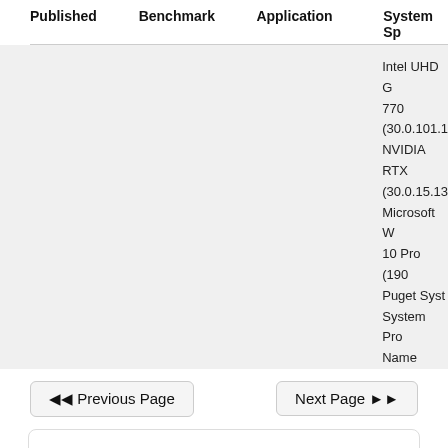| Published | Benchmark | Application | System Sp... |
| --- | --- | --- | --- |
|  |  |  | Intel UHD G... 770 (30.0.101... NVIDIA RTX... (30.0.15.13... Microsoft W... 10 Pro (190... Puget Syst... System Pro... Name |
◄◄ Previous Page
Next Page ►►
[Figure (photo): Black tower desktop PC case, tall rectangular form factor with smooth front panel]